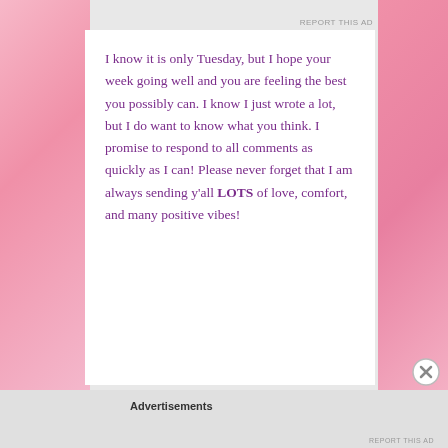I know it is only Tuesday, but I hope your week going well and you are feeling the best you possibly can. I know I just wrote a lot, but I do want to know what you think. I promise to respond to all comments as quickly as I can! Please never forget that I am always sending y'all LOTS of love, comfort, and many positive vibes!
Advertisements